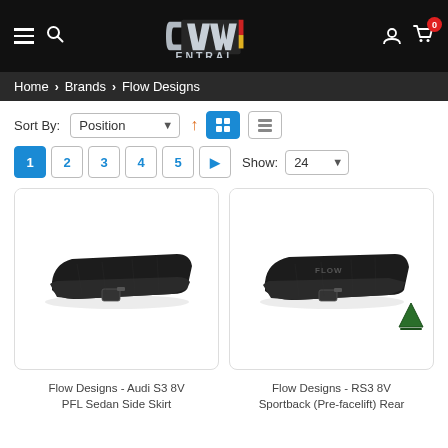[Figure (logo): CVW Central logo on black header with hamburger menu, search icon, user icon, and cart icon with 0 badge]
Home > Brands > Flow Designs
Sort By: Position ↑ [grid view] [list view]
1 2 3 4 5 ▶ Show: 24
[Figure (photo): Flow Designs - Audi S3 8V PFL Sedan Side Skirt product photo showing dark side skirt extensions]
[Figure (photo): Flow Designs - RS3 8V Sportback (Pre-facelift) Rear product photo showing dark rear extensions with Made in Australia badge]
Flow Designs - Audi S3 8V PFL Sedan Side Skirt
Flow Designs - RS3 8V Sportback (Pre-facelift) Rear